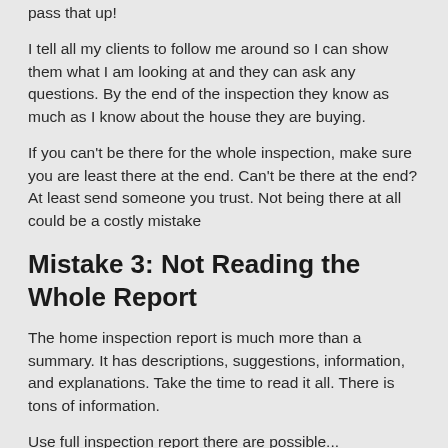pass that up!
I tell all my clients to follow me around so I can show them what I am looking at and they can ask any questions. By the end of the inspection they know as much as I know about the house they are buying.
If you can't be there for the whole inspection, make sure you are least there at the end. Can't be there at the end? At least send someone you trust. Not being there at all could be a costly mistake
Mistake 3: Not Reading the Whole Report
The home inspection report is much more than a summary. It has descriptions, suggestions, information, and explanations. Take the time to read it all. There is tons of information.
Use full inspection report there are possible...